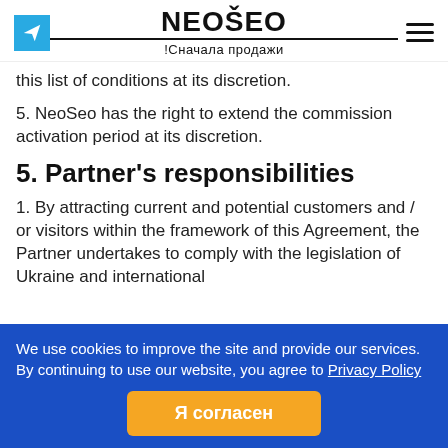NEOŠEO !Сначала продажи
this list of conditions at its discretion.
5. NeoSeo has the right to extend the commission activation period at its discretion.
5. Partner's responsibilities
1. By attracting current and potential customers and / or visitors within the framework of this Agreement, the Partner undertakes to comply with the legislation of Ukraine and international
We use cookies to improve the site and provide our services. By continuing to use our website, you agree to Privacy Policy
Я согласен